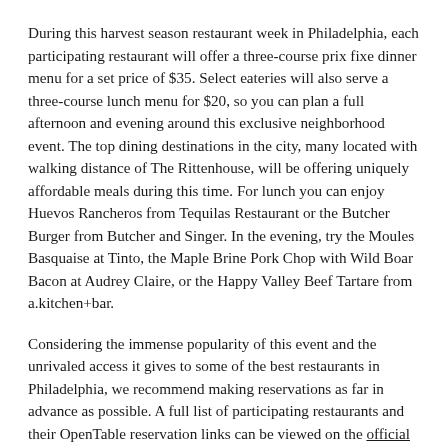During this harvest season restaurant week in Philadelphia, each participating restaurant will offer a three-course prix fixe dinner menu for a set price of $35. Select eateries will also serve a three-course lunch menu for $20, so you can plan a full afternoon and evening around this exclusive neighborhood event. The top dining destinations in the city, many located with walking distance of The Rittenhouse, will be offering uniquely affordable meals during this time. For lunch you can enjoy Huevos Rancheros from Tequilas Restaurant or the Butcher Burger from Butcher and Singer. In the evening, try the Moules Basquaise at Tinto, the Maple Brine Pork Chop with Wild Boar Bacon at Audrey Claire, or the Happy Valley Beef Tartare from a.kitchen+bar.
Considering the immense popularity of this event and the unrivaled access it gives to some of the best restaurants in Philadelphia, we recommend making reservations as far in advance as possible. A full list of participating restaurants and their OpenTable reservation links can be viewed on the official Center City District website, which also offers a convenient smartphone app to make planning your culinary getaway even easier.